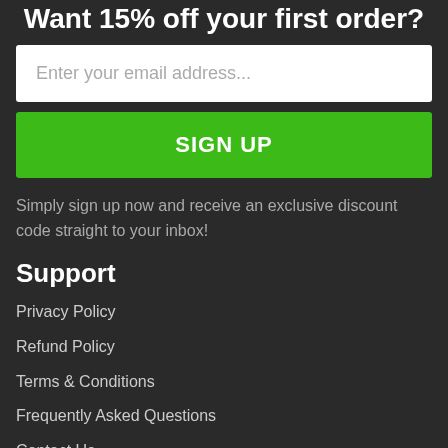Want 15% off your first order?
Enter your email address...
SIGN UP
Simply sign up now and receive an exclusive discount code straight to your inbox!
Support
Privacy Policy
Refund Policy
Terms & Conditions
Frequently Asked Questions
Contact Us